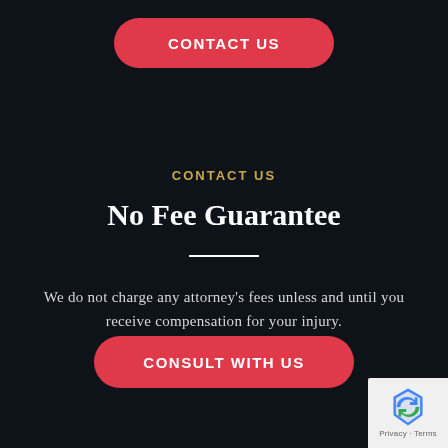[Figure (other): Red rounded button with white bold uppercase text 'CONTACT US' at the top of the page]
CONTACT US
No Fee Guarantee
We do not charge any attorney's fees unless and until you receive compensation for your injury.
[Figure (other): Red rounded button with white bold uppercase text 'CONSULT WITH US' near the bottom of the page]
[Figure (other): Google reCAPTCHA badge in bottom-right corner showing reCAPTCHA logo and 'Privacy - Terms' text]